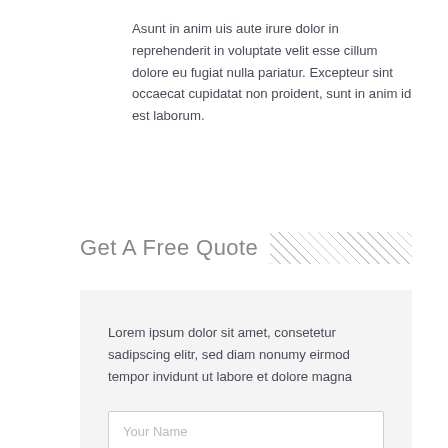Asunt in anim uis aute irure dolor in reprehenderit in voluptate velit esse cillum dolore eu fugiat nulla pariatur. Excepteur sint occaecat cupidatat non proident, sunt in anim id est laborum.
Take a Tour →
Get A Free Quote
Lorem ipsum dolor sit amet, consetetur sadipscing elitr, sed diam nonumy eirmod tempor invidunt ut labore et dolore magna
Your Name